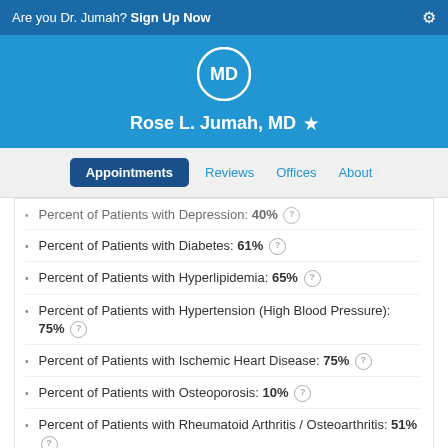Are you Dr. Jumah? Sign Up Now
Rose L. Jumah, MD
Appointments | Reviews | Offices | About
Percent of Patients with Depression: 40%
Percent of Patients with Diabetes: 61%
Percent of Patients with Hyperlipidemia: 65%
Percent of Patients with Hypertension (High Blood Pressure): 75%
Percent of Patients with Ischemic Heart Disease: 75%
Percent of Patients with Osteoporosis: 10%
Percent of Patients with Rheumatoid Arthritis / Osteoarthritis: 51%
Percent of Patients with Schizophrenia / Other Psychiatric Disorders: ??%